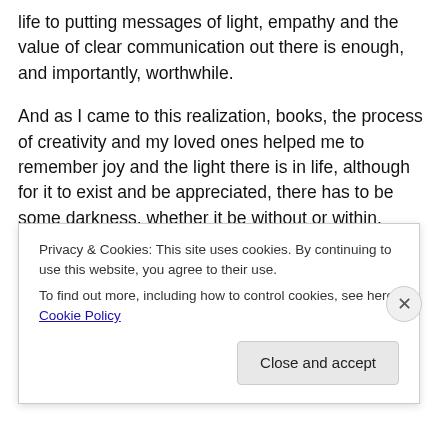life to putting messages of light, empathy and the value of clear communication out there is enough, and importantly, worthwhile.
And as I came to this realization, books, the process of creativity and my loved ones helped me to remember joy and the light there is in life, although for it to exist and be appreciated, there has to be some darkness, whether it be without or within.
A simple trip to the library with my son to pick up some children's Christmas books was joyful
Privacy & Cookies: This site uses cookies. By continuing to use this website, you agree to their use.
To find out more, including how to control cookies, see here: Cookie Policy
Close and accept